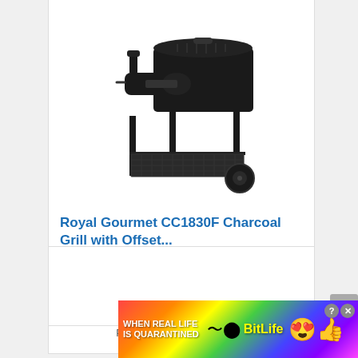[Figure (photo): Black charcoal grill with offset smoker barrel, wire lower shelf, two wheels, on white background]
Royal Gourmet CC1830F Charcoal Grill with Offset...
★★★★☆ (3980)
Check Price
Price incl. tax, excl. shipping
[Figure (screenshot): BitLife advertisement banner: WHEN REAL LIFE IS QUARANTINED - BitLife app ad with emoji characters]
WHEN REAL LIFE IS QUARANTINED BitLife